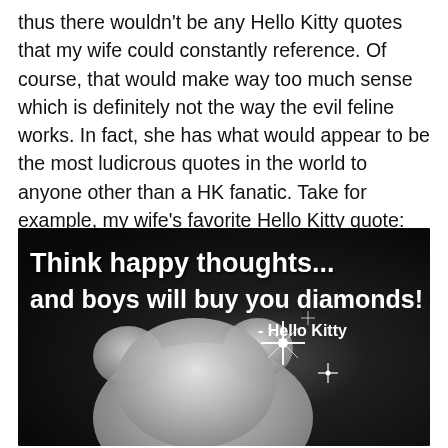thus there wouldn't be any Hello Kitty quotes that my wife could constantly reference. Of course, that would make way too much sense which is definitely not the way the evil feline works. In fact, she has what would appear to be the most ludicrous quotes in the world to anyone other than a HK fanatic. Take for example, my wife's favorite Hello Kitty quote:
[Figure (photo): A dark background image showing a diamond-encrusted Hello Kitty figurine with sparkle effects, overlaid with bold white text reading 'Think happy thoughts... and boys will buy you diamonds! - Hello Kitty']